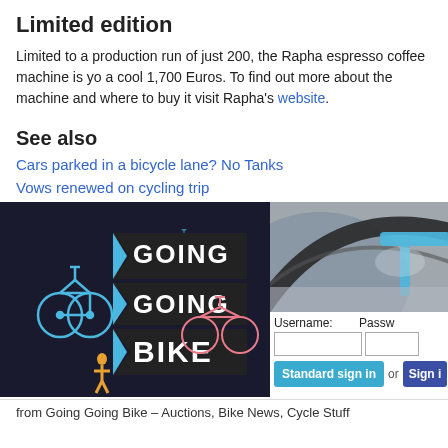Limited edition
Limited to a production run of just 200, the Rapha espresso coffee machine is yo a cool 1,700 Euros. To find out more about the machine and where to buy it visit Rapha's website.
See also
Cars parked in a bicycle lane? No Tanks
Vows renewed on cycling trip
[Figure (illustration): Going Going Bike logo — black banner with white bold text reading GOING GOING BIKE, with colorful bicycle illustrations in blue, pink and gold on a dark background]
[Figure (photo): Close-up photo of a bicycle wheel and blue bicycle frame on pavement]
from Going Going Bike – Auctions, Bike News, Cycle Stuff